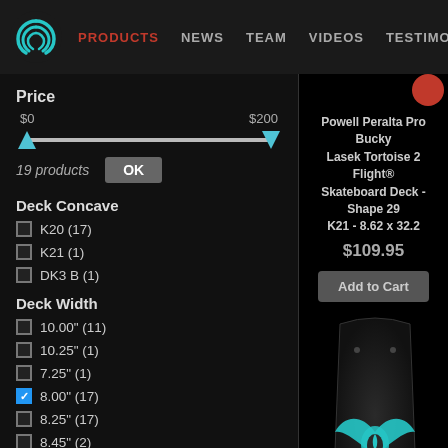PRODUCTS | NEWS | TEAM | VIDEOS | TESTIMONIALS
Price
$0   $200
19 products
Deck Concave
K20 (17)
K21 (1)
DK3 B (1)
Deck Width
10.00" (11)
10.25" (1)
7.25" (1)
8.00" (17) [checked]
8.25" (17)
8.45" (2)
8.50" (12)
8.62" (1) [checked]
Powell Peralta Pro Bucky Lasek Tortoise 2 Flight® Skateboard Deck - Shape 29 K21 - 8.62 x 32.2
$109.95
[Figure (illustration): Skateboard deck product image - dark board with teal Powell Peralta logo featuring wing/feather design]